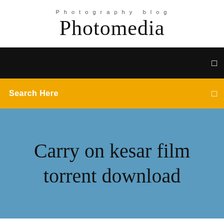Photography blog
Photomedia
Search Here
Carry on kesar film torrent download